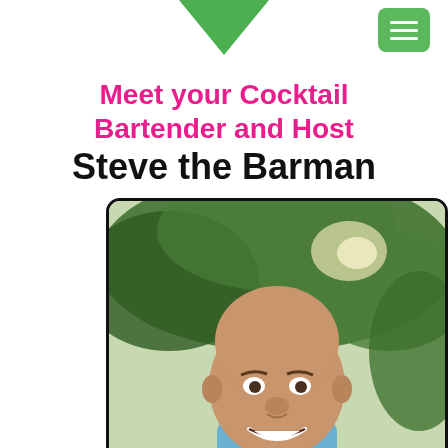[Figure (logo): Green downward pointing arrow/chevron at top center]
[Figure (other): Green rounded square hamburger menu button top right]
Meet your Cocktail Bartender and Host Steve the Barman
[Figure (photo): Smiling bald man outdoors with green trees in background, photo in rounded rectangle frame with black bottom bar containing list and phone icons]